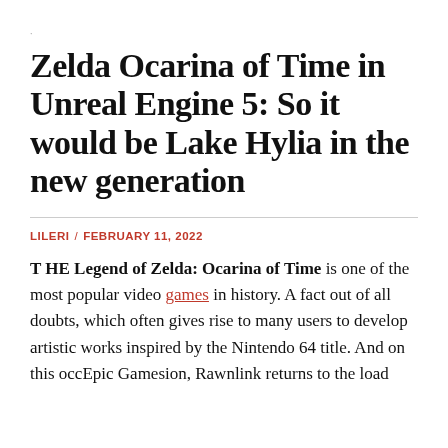Zelda Ocarina of Time in Unreal Engine 5: So it would be Lake Hylia in the new generation
LILERI / FEBRUARY 11, 2022
T HE Legend of Zelda: Ocarina of Time is one of the most popular video games in history. A fact out of all doubts, which often gives rise to many users to develop artistic works inspired by the Nintendo 64 title. And on this occEpic Gamesion, Rawnlink returns to the load